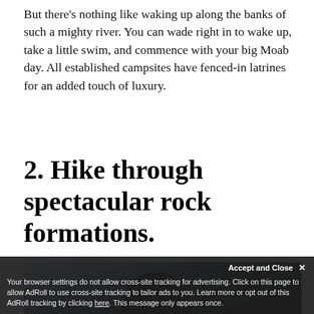But there's nothing like waking up along the banks of such a mighty river. You can wade right in to wake up, take a little swim, and commence with your big Moab day. All established campsites have fenced-in latrines for an added touch of luxury.
2. Hike through spectacular rock formations.
[Figure (photo): Partial photo of a person silhouetted against a bright sky with clouds, appearing to be outdoors in a rocky or desert landscape.]
Accept and Close ×
Your browser settings do not allow cross-site tracking for advertising. Click on this page to allow AdRoll to use cross-site tracking to tailor ads to you. Learn more or opt out of this AdRoll tracking by clicking here. This message only appears once.